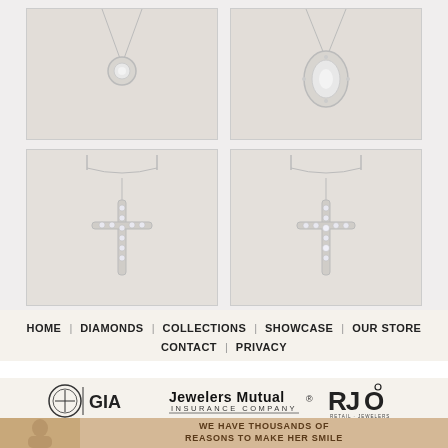[Figure (photo): Diamond solitaire pendant necklace on white background, top-left]
[Figure (photo): Oval diamond halo pendant necklace on white background, top-right]
[Figure (photo): Diamond cross pendant necklace on white background, bottom-left]
[Figure (photo): Diamond cross pendant necklace on white background, bottom-right]
HOME | DIAMONDS | COLLECTIONS | SHOWCASE | OUR STORE | CONTACT | PRIVACY
[Figure (logo): GIA logo with shield emblem, Jewelers Mutual Insurance Company logo, RJO Retail Jewelers Organization logo]
WE HAVE THOUSANDS OF REASONS TO MAKE HER SMILE